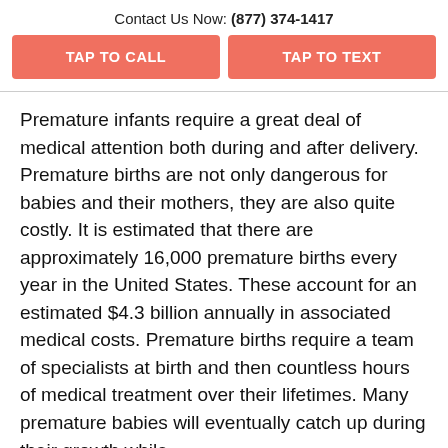Contact Us Now: (877) 374-1417
TAP TO CALL
TAP TO TEXT
Premature infants require a great deal of medical attention both during and after delivery. Premature births are not only dangerous for babies and their mothers, they are also quite costly. It is estimated that there are approximately 16,000 premature births every year in the United States. These account for an estimated $4.3 billion annually in associated medical costs. Premature births require a team of specialists at birth and then countless hours of medical treatment over their lifetimes. Many premature babies will eventually catch up during their growth while